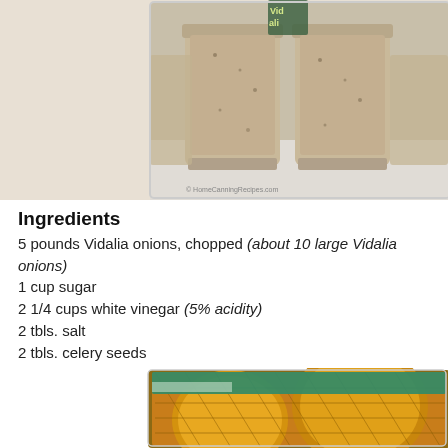[Figure (photo): Two glass jars filled with a beige/tan blended condiment or dressing, with a bottle label partially visible in the background reading 'Vidalia'. Photo has a copyright watermark at the bottom.]
Ingredients
5 pounds Vidalia onions, chopped (about 10 large Vidalia onions)
1 cup sugar
2 1/4 cups white vinegar (5% acidity)
2 tbls. salt
2 tbls. celery seeds
[Figure (photo): A bag of Vidalia onions in a yellow mesh net, showing multiple large yellow onions with green and white packaging partially visible at the top.]